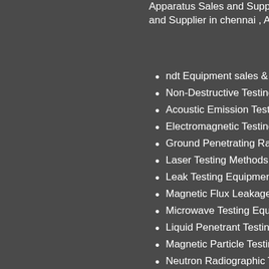Apparatus Sales and Supplier and Supplier in chennai , Anilin
ndt Equipment sales & Supp
Non-Destructive Testing Equ
Acoustic Emission Testing E
Electromagnetic Testing Equ
Ground Penetrating Radar E
Laser Testing Methods Equi
Leak Testing Equipment (LT
Magnetic Flux Leakage Equ
Microwave Testing Equipme
Liquid Penetrant Testing Equ
Magnetic Particle Testing Eq
Neutron Radiographic Testin
Radiographic Testing Equip
Thermal/Infrared Testing Eq
Infrared Thermography Test
Ultrasonic Testing Equipme